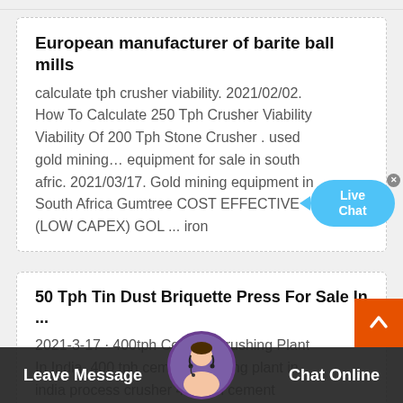European manufacturer of barite ball mills
calculate tph crusher viability. 2021/02/02. How To Calculate 250 Tph Crusher Viability Viability Of 200 Tph Stone Crusher . used gold mining… equipment for sale in south afric. 2021/03/17. Gold mining equipment in South Africa Gumtree COST EFFECTIVE (LOW CAPEX) GOL ... iron
50 Tph Tin Dust Briquette Press For Sale In ...
2021-3-17 · 400tph Cement Crushing Plant In India. 400 tph cement crushing plant in india process crusher 400 tph cement crushing plant i... philippines 157 views the professional